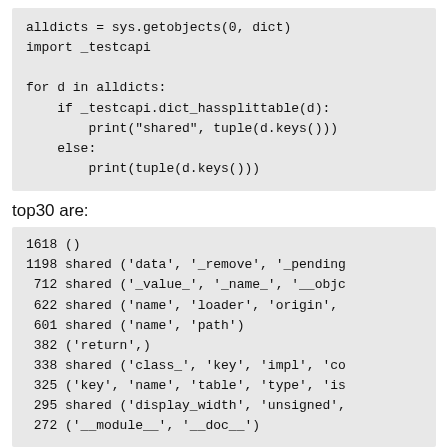alldicts = sys.getobjects(0, dict)
import _testcapi

for d in alldicts:
    if _testcapi.dict_hassplittable(d):
        print("shared", tuple(d.keys()))
    else:
        print(tuple(d.keys()))
top30 are:
1618 ()
1198 shared ('data', '_remove', '_pending
 712 shared ('_value_', '_name_', '__objc
 622 shared ('name', 'loader', 'origin',
 601 shared ('name', 'path')
 382 ('return',)
 338 shared ('class_', 'key', 'impl', 'co
 325 ('key', 'name', 'table', 'type', 'is
 295 shared ('display_width', 'unsigned',
 272 ('__module__', '__doc__')